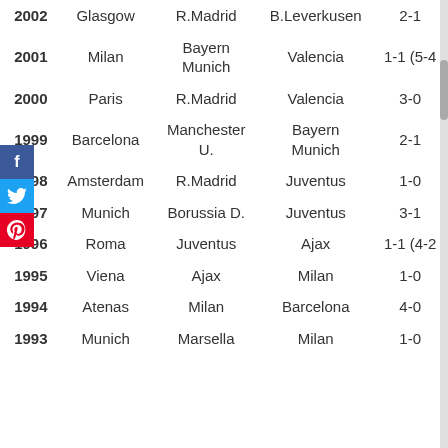| Year | City | Winner | Runner-up | Score |
| --- | --- | --- | --- | --- |
| 2002 | Glasgow | R.Madrid | B.Leverkusen | 2-1 |
| 2001 | Milan | Bayern Munich | Valencia | 1-1 (5-4 |
| 2000 | Paris | R.Madrid | Valencia | 3-0 |
| 1999 | Barcelona | Manchester U. | Bayern Munich | 2-1 |
| 1998 | Amsterdam | R.Madrid | Juventus | 1-0 |
| 1997 | Munich | Borussia D. | Juventus | 3-1 |
| 1996 | Roma | Juventus | Ajax | 1-1 (4-2 |
| 1995 | Viena | Ajax | Milan | 1-0 |
| 1994 | Atenas | Milan | Barcelona | 4-0 |
| 1993 | Munich | Marsella | Milan | 1-0 |